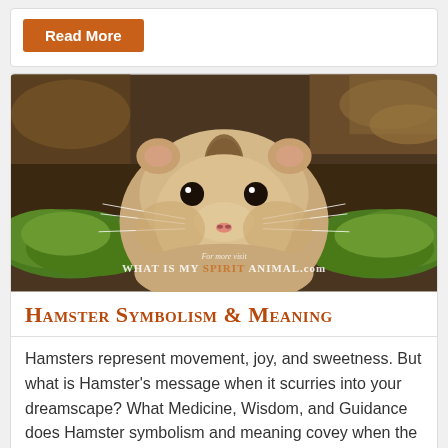Read More
[Figure (photo): Close-up photo of a hamster sitting on green moss with dried leaves in the background. Watermark reads: 'For more visit WHAT IS MY SPIRIT ANIMAL.com']
Hamster Symbolism & Meaning
Hamsters represent movement, joy, and sweetness. But what is Hamster's message when it scurries into your dreamscape? What Medicine, Wisdom, and Guidance does Hamster symbolism and meaning covey when the